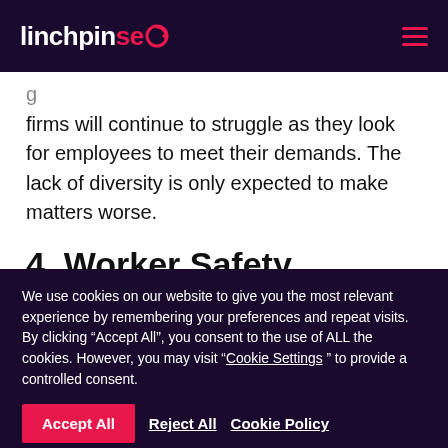linchpinseo
g
firms will continue to struggle as they look for employees to meet their demands. The lack of diversity is only expected to make matters worse.
4. Worker Safety
We use cookies on our website to give you the most relevant experience by remembering your preferences and repeat visits. By clicking “Accept All”, you consent to the use of ALL the cookies. However, you may visit “Cookie Settings” to provide a controlled consent.
Accept All   Reject All   Cookie Policy